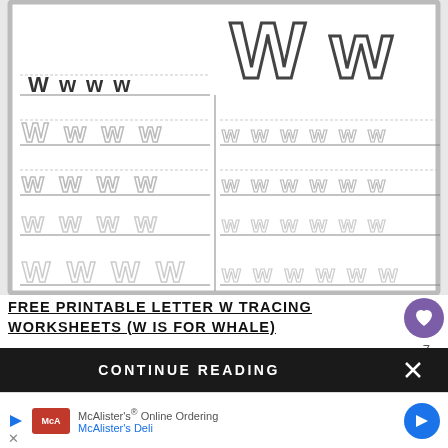[Figure (illustration): Letter W tracing worksheet for preschool showing dotted uppercase and lowercase W letters on lined paper with solid example W letters at top right]
FREE PRINTABLE LETTER W TRACING WORKSHEETS (W IS FOR WHALE)
W is for Whale with these printable preschool letter tracing worksheets.
CONTINUE READING
McAlister's® Online Ordering McAlister's Deli